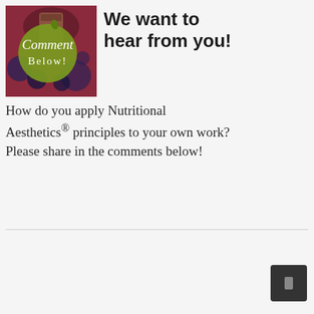[Figure (illustration): Photo of blueberries and a drink in a glass, overlaid with a circular olive-green badge containing the italic text 'Comment' and below it 'Below!' in white serif/script font.]
We want to hear from you!
How do you apply Nutritional Aesthetics® principles to your own work? Please share in the comments below!